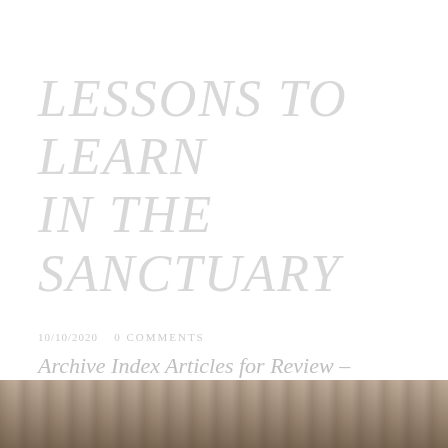LESSONS TO LEARN IN THE SANCTUARY
10/10/2020   0 COMMENTS
Archive Index  Articles for Review – October–November, 2019, Bi–Monthly Saturday Series, Post B, October 10,  2020
[Figure (photo): Partial view of a bookshelf or library interior, visible at the bottom edge of the page, with warm muted tones of brown, red, and grey.]